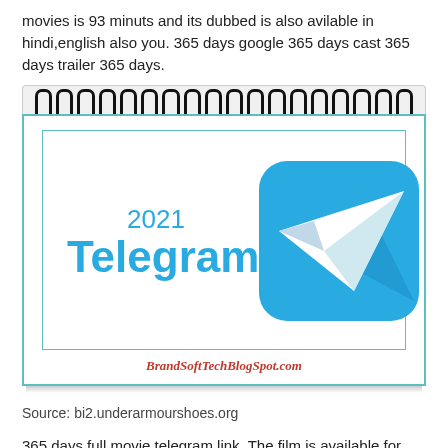movies is 93 minuts and its dubbed is also avilable in hindi,english also you. 365 days google 365 days cast 365 days trailer 365 days.
[Figure (illustration): Notebook-style image with spiral binding at top, teal border, showing '2021 Telegram' text in blue with Telegram paper plane logo on blue rounded square background, and BrandSoftTechBlogSpot.com in red italic bold text at bottom.]
Source: bi2.underarmourshoes.org
365 days full movie telegram link. The film is available for